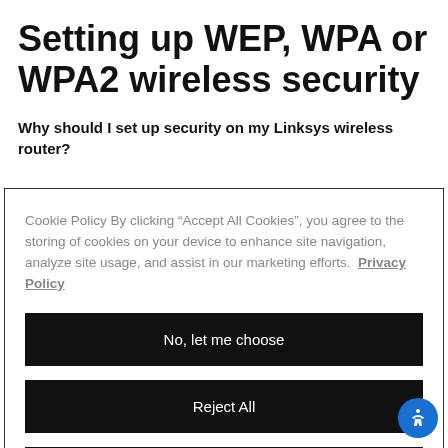Setting up WEP, WPA or WPA2 wireless security
Why should I set up security on my Linksys wireless router?
Cookie Policy By clicking “Accept All Cookies“, you agree to the storing of cookies on your device to enhance site navigation, analyze site usage, and assist in our marketing efforts. Privacy Policy
No, let me choose
Reject All
Accept All Cookies